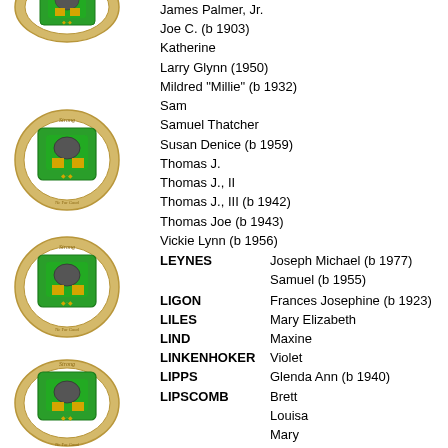[Figure (illustration): Heraldic coat of arms crest - circular green and gold design with shield, repeated multiple times on the page]
James Palmer, Jr.
Joe C. (b 1903)
Katherine
Larry Glynn (1950)
Mildred "Millie" (b 1932)
Sam
Samuel Thatcher
Susan Denice (b 1959)
Thomas J.
Thomas J., II
Thomas J., III (b 1942)
Thomas Joe (b 1943)
Vickie Lynn (b 1956)
LEYNES - Joseph Michael (b 1977)
LEYNES - Samuel (b 1955)
LIGON - Frances Josephine (b 1923)
LILES - Mary Elizabeth
LIND - Maxine
LINKENHOKER - Violet
LIPPS - Glenda Ann (b 1940)
LIPSCOMB - Brett
LIPSCOMB - Louisa
LIPSCOMB - Mary